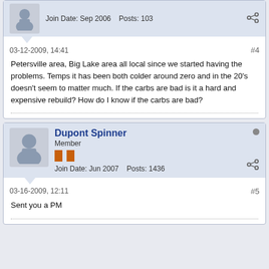Join Date: Sep 2006   Posts: 103
03-12-2009, 14:41   #4
Petersville area, Big Lake area all local since we started having the problems. Temps it has been both colder around zero and in the 20's doesn't seem to matter much. If the carbs are bad is it a hard and expensive rebuild? How do I know if the carbs are bad?
Dupont Spinner
Member
Join Date: Jun 2007   Posts: 1436
03-16-2009, 12:11   #5
Sent you a PM